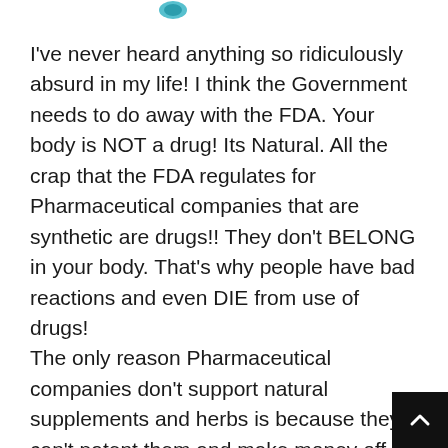[Figure (logo): Small teal/blue avatar or profile icon in the upper area]
I've never heard anything so ridiculously absurd in my life! I think the Government needs to do away with the FDA. Your body is NOT a drug! Its Natural. All the crap that the FDA regulates for Pharmaceutical companies that are synthetic are drugs!! They don't BELONG in your body. That's why people have bad reactions and even DIE from use of drugs!
The only reason Pharmaceutical companies don't support natural supplements and herbs is because they can't patent them and make money off the whole plant, so they only use part of it to make their drugs,